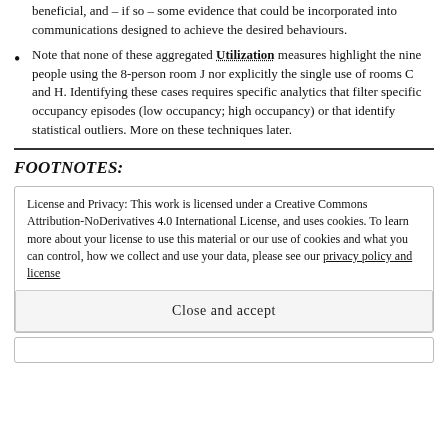beneficial, and – if so – some evidence that could be incorporated into communications designed to achieve the desired behaviours.
Note that none of these aggregated Utilization measures highlight the nine people using the 8-person room J nor explicitly the single use of rooms C and H. Identifying these cases requires specific analytics that filter specific occupancy episodes (low occupancy; high occupancy) or that identify statistical outliers. More on these techniques later.
FOOTNOTES:
License and Privacy: This work is licensed under a Creative Commons Attribution-NoDerivatives 4.0 International License, and uses cookies. To learn more about your license to use this material or our use of cookies and what you can control, how we collect and use your data, please see our privacy policy and license
Close and accept